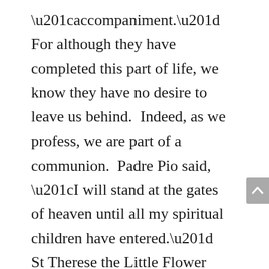“accompaniment.”  For although they have completed this part of life, we know they have no desire to leave us behind.  Indeed, as we profess, we are part of a communion.  Padre Pio said, “I will stand at the gates of heaven until all my spiritual children have entered.”  St Therese the Little Flower declared, “I will spend my heaven doing good on earth.”
Sometimes we want a saint for a cause, an intention, a miracle.  But maybe we